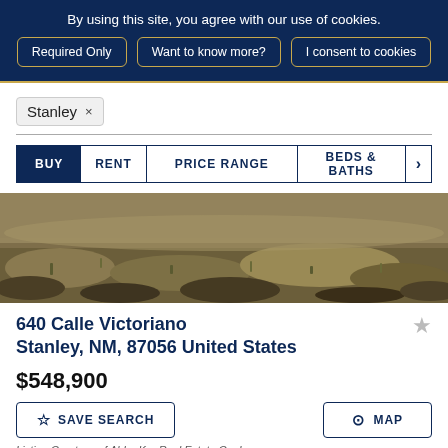By using this site, you agree with our use of cookies.
Required Only
Want to know more?
I consent to cookies
Stanley ×
BUY   RENT   PRICE RANGE   BEDS & BATHS   ›
[Figure (photo): Aerial ground-level photo of a dry grassy field with sparse vegetation and disturbed soil.]
640 Calle Victoriano
Stanley, NM, 87056 United States
$548,900
☆ SAVE SEARCH
⊙ MAP
Listing Courtesy of Ahler Ker Real Estate Co. Inc.